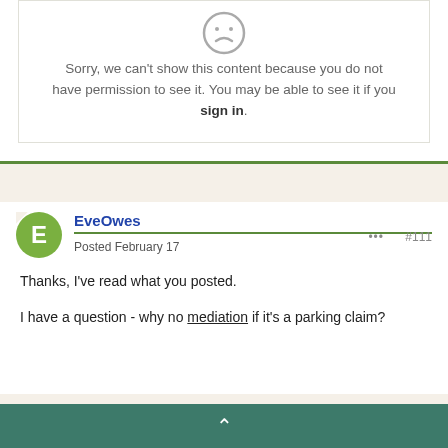[Figure (illustration): Sad face / frowning emoji icon in grey outline]
Sorry, we can't show this content because you do not have permission to see it. You may be able to see it if you sign in.
EveOwes
Posted February 17
#111
Thanks, I've read what you posted.
I have a question - why no mediation if it's a parking claim?